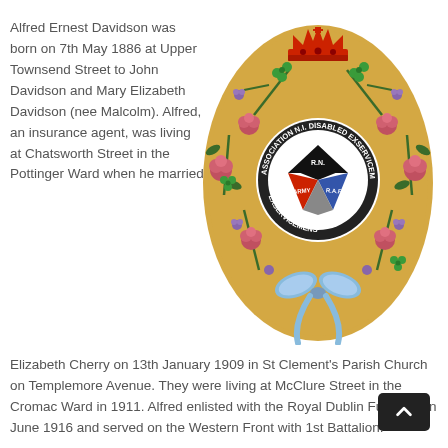Alfred Ernest Davidson was born on 7th May 1886 at Upper Townsend Street to John Davidson and Mary Elizabeth Davidson (nee Malcolm). Alfred, an insurance agent, was living at Chatsworth Street in the Pottinger Ward when he married Elizabeth Cherry on 13th January 1909 in St Clement's Parish Church on Templemore Avenue. They were living at McClure Street in the Cromac Ward in 1911. Alfred enlisted with the Royal Dublin Fusiliers on June 1916 and served on the Western Front with 1st Battalion.
[Figure (illustration): Circular decorative badge/plate with golden background, floral border with roses and shamrocks, a blue ribbon bow at the bottom, a royal crown at the top, and a central circular emblem reading 'Association N.I. Disabled Exservicemens' around a tripartite shield with sections labeled R.N., ARMY, and R.A.F.]